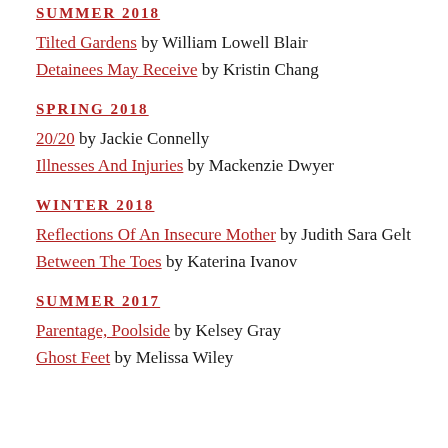SUMMER 2018
Tilted Gardens by William Lowell Blair
Detainees May Receive by Kristin Chang
SPRING 2018
20/20 by Jackie Connelly
Illnesses And Injuries by Mackenzie Dwyer
WINTER 2018
Reflections Of An Insecure Mother by Judith Sara Gelt
Between The Toes by Katerina Ivanov
SUMMER 2017
Parentage, Poolside by Kelsey Gray
Ghost Feet by Melissa Wiley